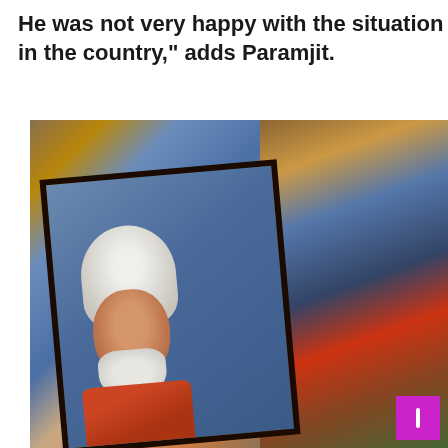He was not very happy with the situation in the country,” adds Paramjit.
[Figure (photo): A framed portrait photograph of an elderly Sikh man wearing a white turban and an orange/red garment, displayed at an angle. The portrait is placed among other objects in the background.]